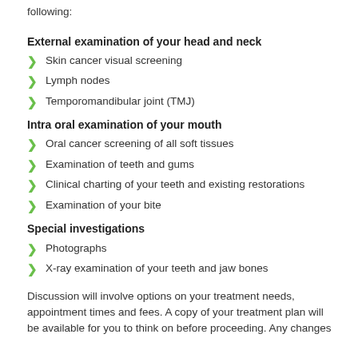following:
External examination of your head and neck
Skin cancer visual screening
Lymph nodes
Temporomandibular joint (TMJ)
Intra oral examination of your mouth
Oral cancer screening of all soft tissues
Examination of teeth and gums
Clinical charting of your teeth and existing restorations
Examination of your bite
Special investigations
Photographs
X-ray examination of your teeth and jaw bones
Discussion will involve options on your treatment needs, appointment times and fees. A copy of your treatment plan will be available for you to think on before proceeding. Any changes will be discussed and agreed upon before proceeding.